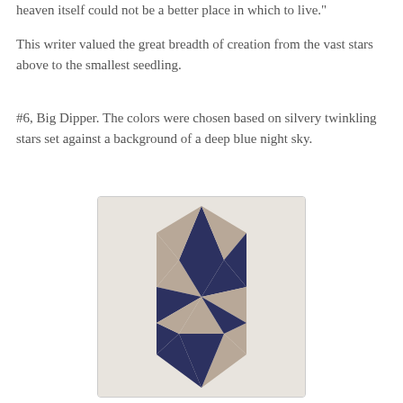heaven itself could not be a better place in which to live."
This writer valued the great breadth of creation from the vast stars above to the smallest seedling.
#6, Big Dipper. The colors were chosen based on silvery twinkling stars set against a background of a deep blue night sky.
[Figure (photo): A quilt block with a diamond/star shape made from alternating navy blue and beige/tan triangular fabric pieces on a light background, forming a geometric Big Dipper pattern.]